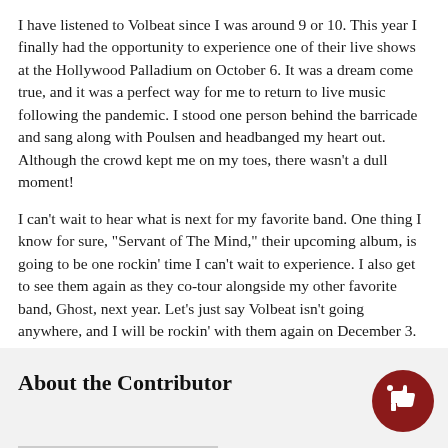I have listened to Volbeat since I was around 9 or 10. This year I finally had the opportunity to experience one of their live shows at the Hollywood Palladium on October 6. It was a dream come true, and it was a perfect way for me to return to live music following the pandemic. I stood one person behind the barricade and sang along with Poulsen and headbanged my heart out. Although the crowd kept me on my toes, there wasn't a dull moment!
I can't wait to hear what is next for my favorite band. One thing I know for sure, "Servant of The Mind," their upcoming album, is going to be one rockin' time I can't wait to experience. I also get to see them again as they co-tour alongside my other favorite band, Ghost, next year. Let's just say Volbeat isn't going anywhere, and I will be rockin' with them again on December 3.
About the Contributor